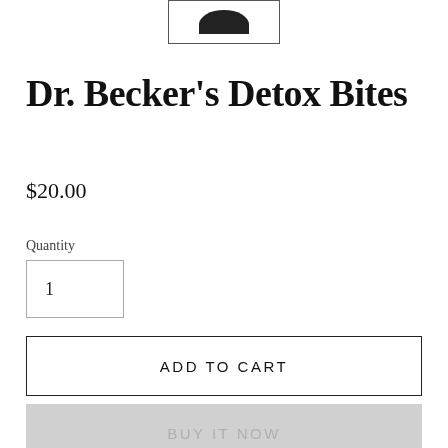[Figure (photo): Small product thumbnail image showing a dark circular shape, partially visible at top of page, in a bordered box]
Dr. Becker's Detox Bites
$20.00
Quantity
1
ADD TO CART
BUY IT NOW